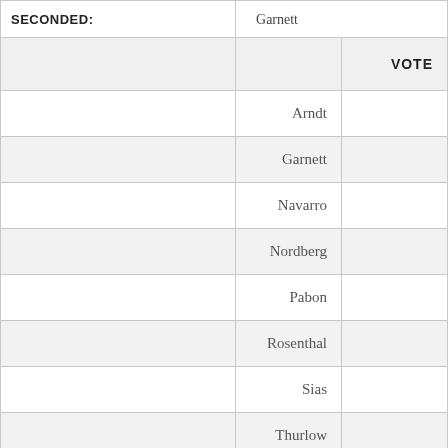|  |  | VOTE |
| --- | --- | --- |
| SECONDED: | Garnett |  |
|  | Arndt |  |
|  | Garnett |  |
|  | Navarro |  |
|  | Nordberg |  |
|  | Pabon |  |
|  | Rosenthal |  |
|  | Sias |  |
|  | Thurlow |  |